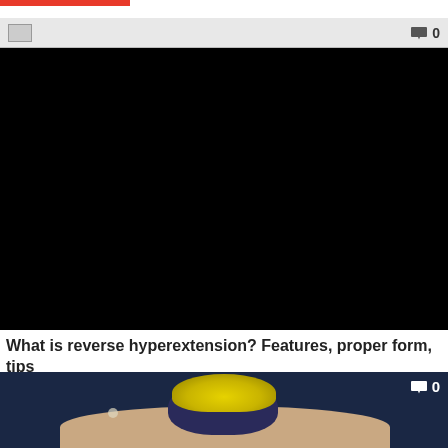[Figure (screenshot): Red horizontal bar at top of page, partial website header element]
[Figure (screenshot): Video player thumbnail with browser/app top bar showing comment icon and count '0', black video content area]
What is reverse hyperextension? Features, proper form, tips
[Figure (photo): Photo of a person with yellow-dyed hair viewed from behind, shirtless, dark blue background, comment icon and count '0' overlay in top right]